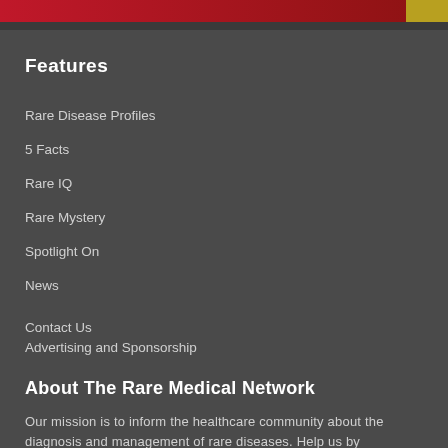[Figure (photo): Red banner/header image at the top of the page with decorative imagery on the right side]
Features
Rare Disease Profiles
5 Facts
Rare IQ
Rare Mystery
Spotlight On
News
Contact Us
Advertising and Sponsorship
About The Rare Medical Network
Our mission is to inform the healthcare community about the diagnosis and management of rare diseases. Help us by